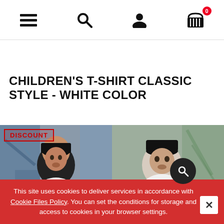Navigation bar with menu, search, account, and cart (0 items) icons
CHILDREN'S T-SHIRT CLASSIC STYLE - WHITE COLOR
[Figure (photo): Product photo showing two children wearing white t-shirts and dark beanies in front of a graffiti wall. Left image shows a closer front view, right image shows slightly wider view. A red-bordered DISCOUNT badge appears in the top-left corner of the image.]
This site uses cookies to deliver services in accordance with Cookie Files Policy. You can set the conditions for storage and access to cookies in your browser settings.